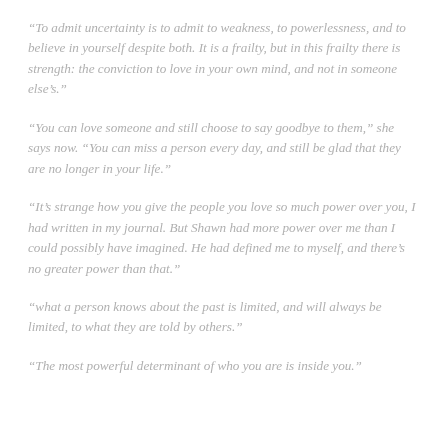“To admit uncertainty is to admit to weakness, to powerlessness, and to believe in yourself despite both. It is a frailty, but in this frailty there is strength: the conviction to love in your own mind, and not in someone else’s.”
“You can love someone and still choose to say goodbye to them,” she says now. “You can miss a person every day, and still be glad that they are no longer in your life.”
“It’s strange how you give the people you love so much power over you, I had written in my journal. But Shawn had more power over me than I could possibly have imagined. He had defined me to myself, and there’s no greater power than that.”
“what a person knows about the past is limited, and will always be limited, to what they are told by others.”
“The most powerful determinant of who you are is inside you.”